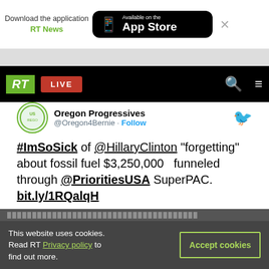[Figure (screenshot): App Store download banner with RT News link and App Store button]
[Figure (screenshot): RT News navigation bar with logo, LIVE button, search and menu icons]
[Figure (screenshot): Tweet from Oregon Progressives (@Oregon4Bernie) with text: #ImSoSick of @HillaryClinton "forgetting" about fossil fuel $3,250,000 funneled through @PrioritiesUSA SuperPAC. bit.ly/1RQalqH · 11:34 PM · Mar 31, 2016 · 193 likes · Reply · Copy link to Tweet · Read 3 replies]
This website uses cookies. Read RT Privacy policy to find out more.
Accept cookies